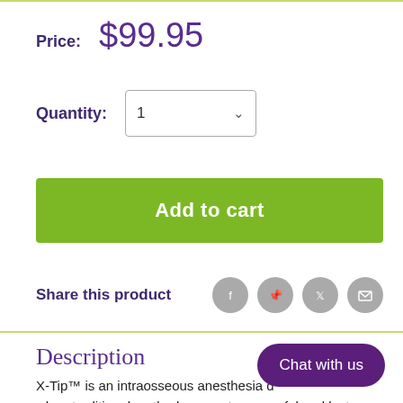Price: $99.95
Quantity: 1
Add to cart
Share this product
Description
X-Tip™ is an intraosseous anesthesia d... when traditional methods are not successful and last, profound numbness is required. The special funnel shaped
Chat with us